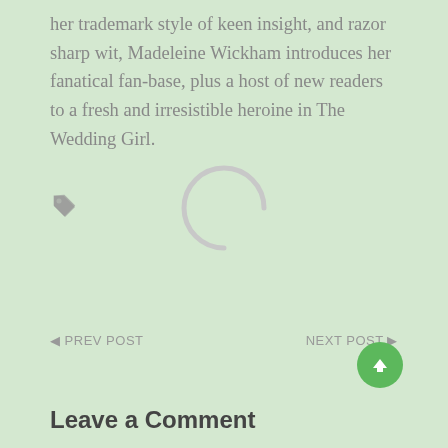her trademark style of keen insight, and razor sharp wit, Madeleine Wickham introduces her fanatical fan-base, plus a host of new readers to a fresh and irresistible heroine in The Wedding Girl.
[Figure (illustration): A loading spinner (partial circle arc) in light gray, indicating content is loading]
◄ PREV POST
NEXT POST ►
Leave a Comment